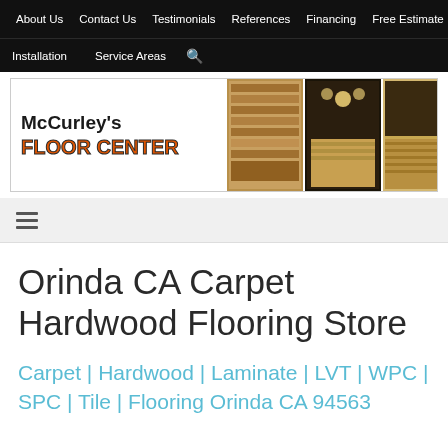About Us | Contact Us | Testimonials | References | Financing | Free Estimate
Installation | Service Areas | search
[Figure (logo): McCurley's Floor Center banner logo with store interior images]
≡
Orinda CA Carpet Hardwood Flooring Store
Carpet | Hardwood | Laminate | LVT | WPC | SPC | Tile | Flooring Orinda CA 94563